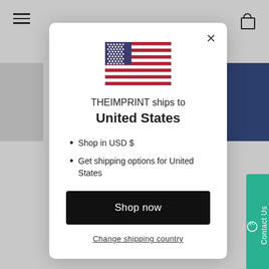[Figure (screenshot): US flag emoji/icon centered at top of modal]
THEIMPRINT ships to United States
Shop in USD $
Get shipping options for United States
Shop now
Change shipping country